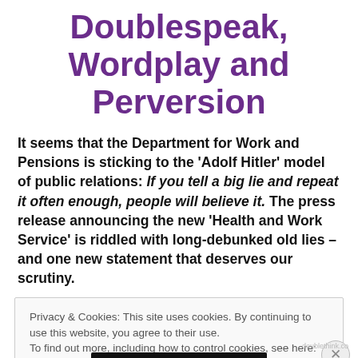Doublespeak, Wordplay and Perversion
It seems that the Department for Work and Pensions is sticking to the 'Adolf Hitler' model of public relations: If you tell a big lie and repeat it often enough, people will believe it. The press release announcing the new 'Health and Work Service' is riddled with long-debunked old lies – and one new statement that deserves our scrutiny.
Privacy & Cookies: This site uses cookies. By continuing to use this website, you agree to their use. To find out more, including how to control cookies, see here: Cookie Policy. Close and accept.